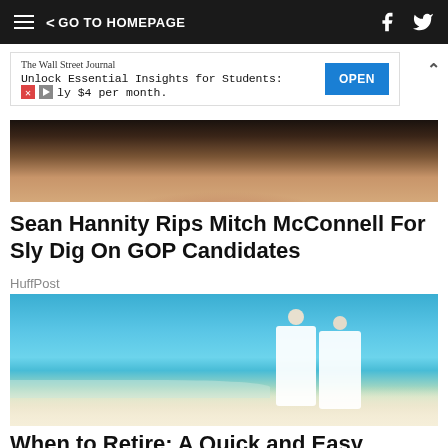< GO TO HOMEPAGE
[Figure (screenshot): Wall Street Journal advertisement banner: 'Unlock Essential Insights for Students: Only $4 per month.' with OPEN button]
[Figure (photo): Close-up photo of a man's face with dark background]
Sean Hannity Rips Mitch McConnell For Sly Dig On GOP Candidates
HuffPost
[Figure (photo): Elderly couple dressed in white walking on a sunny beach with blue sky and turquoise water]
When to Retire: A Quick and Easy